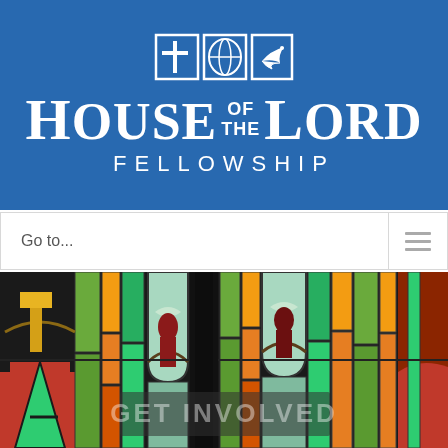[Figure (logo): House of the Lord Fellowship logo with cross, globe, and dove icons on blue background, with large serif text 'House of the Lord' and sans-serif 'Fellowship' below]
Go to...
[Figure (photo): Close-up photograph of colorful stained glass church windows with architectural details in green, red, blue, orange tones with dark lead lines. Overlaid faint text reads 'GET INVOLVED']